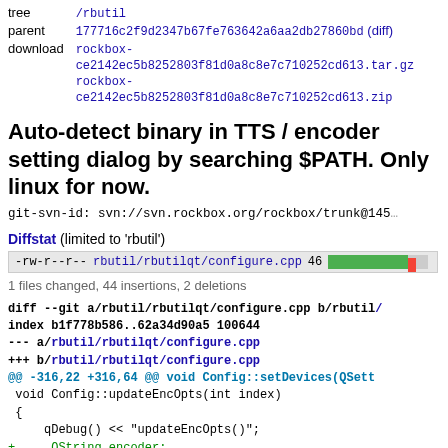| tree | /rbutil |
| parent | 177716c2f9d2347b67fe763642a6aa2db27860bd (diff) |
| download | rockbox-ce2142ec5b8252803f81d0a8c8e7c710252cd613.tar.gz
rockbox-ce2142ec5b8252803f81d0a8c8e7c710252cd613.zip |
Auto-detect binary in TTS / encoder setting dialog by searching $PATH. Only linux for now.
git-svn-id: svn://svn.rockbox.org/rockbox/trunk@145
Diffstat (limited to 'rbutil')
| -rw-r--r-- | rbutil/rbutilqt/configure.cpp | 46 | [bar] |
1 files changed, 44 insertions, 2 deletions
diff --git a/rbutil/rbutilqt/configure.cpp b/rbutil
index b1f778b586..62a34d90a5 100644
--- a/rbutil/rbutilqt/configure.cpp
+++ b/rbutil/rbutilqt/configure.cpp
@@ -316,22 +316,64 @@ void Config::setDevices(QSett
 void Config::updateEncOpts(int index)
 {
     qDebug() << "updateEncOpts()";
+    QString encoder;
+    bool edit;